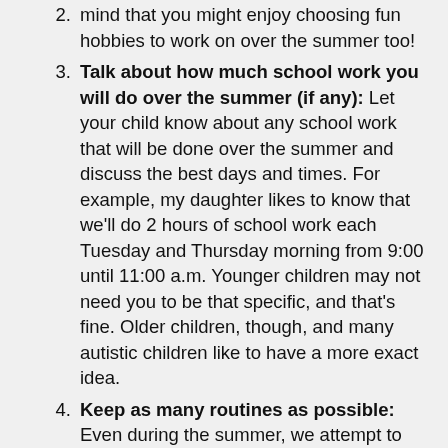(continuation) mind that you might enjoy choosing fun hobbies to work on over the summer too!
Talk about how much school work you will do over the summer (if any): Let your child know about any school work that will be done over the summer and discuss the best days and times. For example, my daughter likes to know that we'll do 2 hours of school work each Tuesday and Thursday morning from 9:00 until 11:00 a.m. Younger children may not need you to be that specific, and that's fine. Older children, though, and many autistic children like to have a more exact idea.
Keep as many routines as possible: Even during the summer, we attempt to get the children in bed at about the same time each night, and we try to get them up at about the same time each